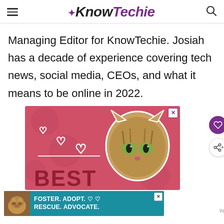KnowTechie
Managing Editor for KnowTechie. Josiah has a decade of experience covering tech news, social media, CEOs, and what it means to be online in 2022.
[Figure (photo): Advertisement image showing a cat with hearts and 'BEST' text on a pink/red background, and a second ad showing a dog with text 'FOSTER. ADOPT. RESCUE. ADVOCATE.']